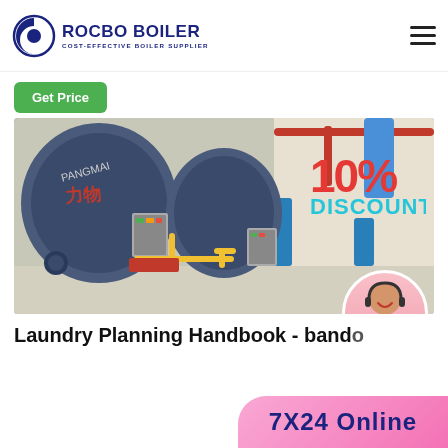[Figure (logo): Rocbo Boiler logo with crescent/C shape icon and text 'ROCBO BOILER - COST-EFFECTIVE BOILER SUPPLIER']
[Figure (other): Hamburger menu icon (three horizontal lines)]
[Figure (other): Green 'Get Price' button]
[Figure (photo): Industrial boiler room with large blue cylindrical boilers, yellow gas pipes, red overhead pipes, blue support columns. Text overlay shows '10% DISCOUNT' and a customer service agent photo.]
Laundry Planning Handbook - band
[Figure (other): 7X24 Online banner in pink/gradient]